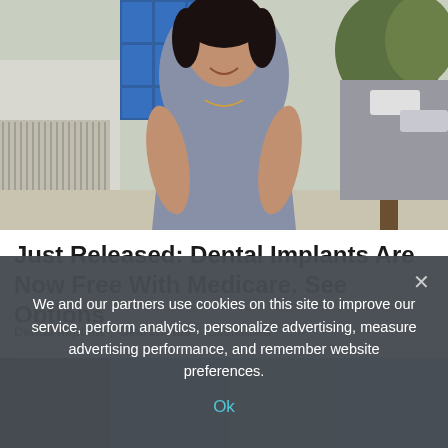[Figure (photo): A young woman wearing a grey fitted dress standing outdoors on a sidewalk with trees and a building with blue panels in the background.]
Just Released: Dental Implants Are Now Free With Medicare. See Options
Dental Implant | Search Ads | Sponsored
[Figure (photo): Partial view of a second advertisement image, mostly obscured by cookie consent overlay.]
We and our partners use cookies on this site to improve our service, perform analytics, personalize advertising, measure advertising performance, and remember website preferences.
Ok